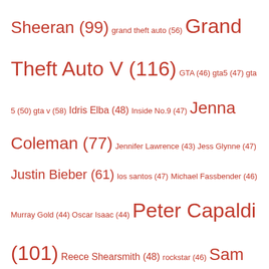Sheeran (99) grand theft auto (56) Grand Theft Auto V (116) GTA (46) gta5 (47) gta 5 (50) gta v (58) Idris Elba (48) Inside No.9 (47) Jenna Coleman (77) Jennifer Lawrence (43) Jess Glynne (47) Justin Bieber (61) los santos (47) Michael Fassbender (46) Murray Gold (44) Oscar Isaac (44) Peter Capaldi (101) Reece Shearsmith (48) rockstar (46) Sam Smith (72) Samuel L. Jackson (69) Scarlett Johansson (43) Sia (46) Stan Lee (53) Stanley Tucci (54) star wars (66) Steven Moffat (63) Taylor Swift (53) Toby Jones (45) Woody Harrelson (51) xbox one (43)
The Amiga A500 Mini – OUT March 25th!
[Figure (photo): Photo of the Amiga A500 Mini product box, showing a retro gaming console box with colorful artwork. A 'Follow' button appears in the bottom-right corner.]